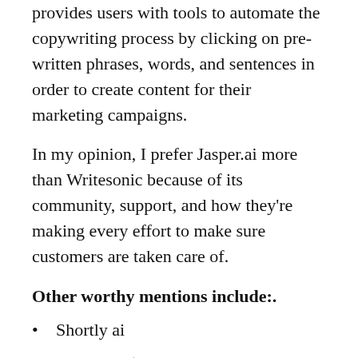provides users with tools to automate the copywriting process by clicking on pre-written phrases, words, and sentences in order to create content for their marketing campaigns.
In my opinion, I prefer Jasper.ai more than Writesonic because of its community, support, and how they're making every effort to make sure customers are taken care of.
Other worthy mentions include:.
Shortly ai
Headlime (recently acquired by Jasper.ai).
Snazzy Ai.
Articoolo